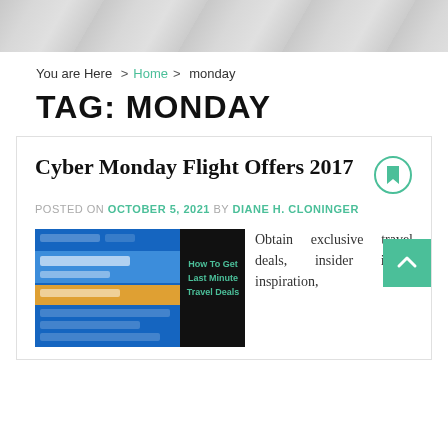[Figure (photo): Website header banner with grey gradient background]
You are Here > Home > monday
TAG: MONDAY
Cyber Monday Flight Offers 2017
POSTED ON OCTOBER 5, 2021 BY DIANE H. CLONINGER
[Figure (screenshot): Screenshot of a travel deals website showing Last Minute Deals page with blue interface and orange search bar, overlaid with text 'How To Get Last Minute Travel Deals']
Obtain exclusive travel deals, insider ideas, inspiration,